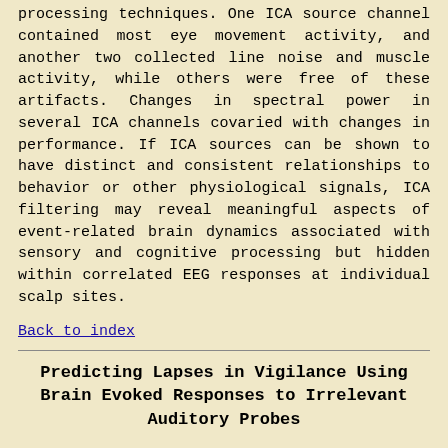processing techniques. One ICA source channel contained most eye movement activity, and another two collected line noise and muscle activity, while others were free of these artifacts. Changes in spectral power in several ICA channels covaried with changes in performance. If ICA sources can be shown to have distinct and consistent relationships to behavior or other physiological signals, ICA filtering may reveal meaningful aspects of event-related brain dynamics associated with sensory and cognitive processing but hidden within correlated EEG responses at individual scalp sites.
Back to index
Predicting Lapses in Vigilance Using Brain Evoked Responses to Irrelevant Auditory Probes
Makeig, S., Elliott, F.S., Inlow, M., and Kobus, D. Technical Report 90-39, Naval Health Research Center, San Diego, CA, 1990.